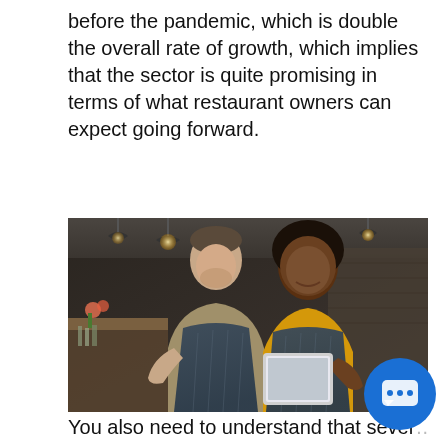before the pandemic, which is double the overall rate of growth, which implies that the sector is quite promising in terms of what restaurant owners can expect going forward.
[Figure (photo): Two restaurant workers in dark blue aprons standing together in a restaurant, looking at a tablet device and smiling. The background shows a bar/kitchen area with warm pendant lights.]
You also need to understand that sever...